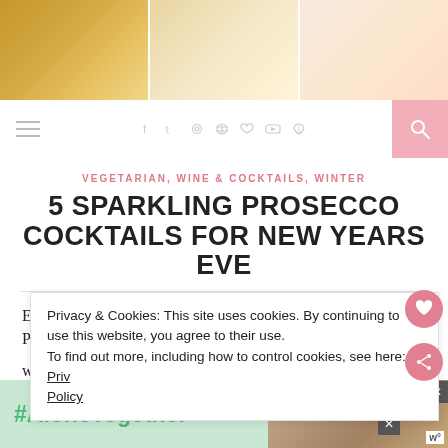[Figure (photo): Header strip with three food/lifestyle photos — woman in yellow dress, golden bottles and ornaments, berries and food items]
Navigation bar with hamburger menu, social icons (f, twitter, instagram, pinterest, heart, youtube, rss), and search button
VEGETARIAN, WINE & COCKTAILS, WINTER
5 SPARKLING PROSECCO COCKTAILS FOR NEW YEARS EVE
Each holiday season as New Years Eve approaches, all of the Prosecco, Champagne, Cava and Sparkling Wine cocktails I've
Privacy & Cookies: This site uses cookies. By continuing to use this website, you agree to their use.
To find out more, including how to control cookies, see here: Priv Policy
[Figure (photo): Advertisement banner with #AloneTogether text and photo of people]
wor